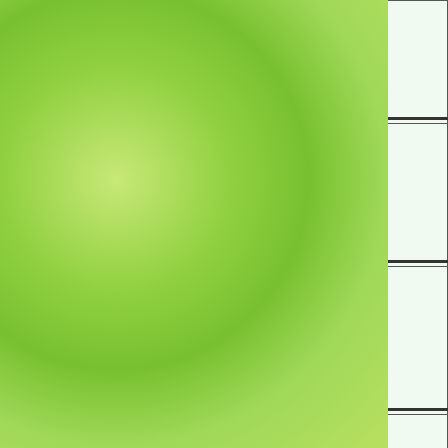| No. | Name. | Abode. | When Buried. | Age. | By whom the Ceremony was performed. |
| --- | --- | --- | --- | --- | --- |
|  | Fisher |  | 1860 |  | Official Minister |
| No. | Name. | Abode. | When Buried. | Age. |  |
| 318 | Elizabeth Hulyer | Willingham Green | 18th Feb 1861 | 10 months |  |
| No. | Name. | Abode. | When Buried. | Age. | By whom the Ceremony was performed. |
|  | Sarah | Carlton | 5th |  | Charles Carver |